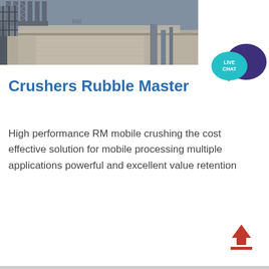[Figure (photo): Industrial crusher machine photograph showing heavy equipment with metal framework and machinery components]
[Figure (illustration): Live Chat button icon with teal speech bubble and dark purple speech bubble]
Crushers Rubble Master
High performance RM mobile crushing the cost effective solution for mobile processing multiple applications powerful and excellent value retention
[Figure (illustration): Red upload/scroll-to-top arrow icon with red underline bar]